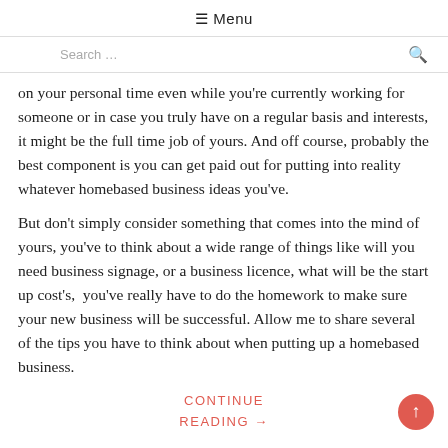☰ Menu
Search ...
on your personal time even while you're currently working for someone or in case you truly have on a regular basis and interests, it might be the full time job of yours. And off course, probably the best component is you can get paid out for putting into reality whatever homebased business ideas you've.
But don't simply consider something that comes into the mind of yours, you've to think about a wide range of things like will you need business signage, or a business licence, what will be the start up cost's,  you've really have to do the homework to make sure your new business will be successful. Allow me to share several of the tips you have to think about when putting up a homebased business.
CONTINUE READING →